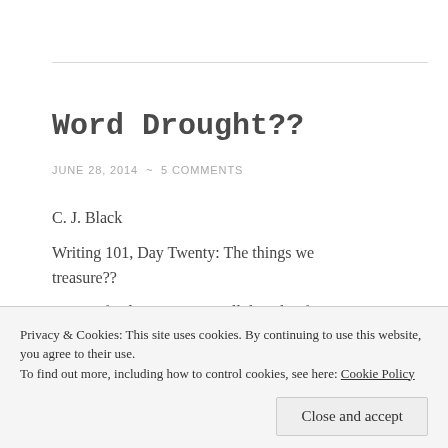Word Drought??
JUNE 28, 2014  ~  5 COMMENTS
C. J. Black
Writing 101, Day Twenty: The things we treasure??
For our final Assignment, tell the tale of your
Privacy & Cookies: This site uses cookies. By continuing to use this website, you agree to their use.
To find out more, including how to control cookies, see here: Cookie Policy
Close and accept